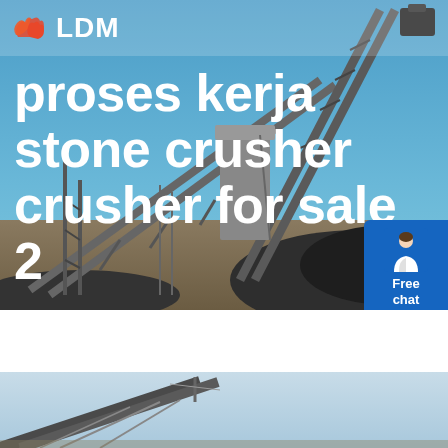[Figure (photo): Industrial stone crusher / conveyor belt facility photographed against a blue sky, with large piles of crushed rock and metal framework visible.]
LDM
proses kerja stone crusher crusher for sale 2
[Figure (photo): Second photo showing a conveyor belt structure at an industrial stone crusher site against a pale blue sky.]